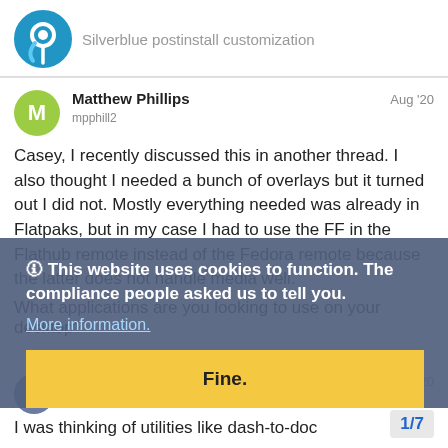Silverblue postinstall customization
Matthew Phillips
mpphill2
Aug '20
Casey, I recently discussed this in another thread. I also thought I needed a bunch of overlays but it turned out I did not. Mostly everything needed was already in Flatpaks, but in my case I had to use the FF in the Flathub remote instead of the Fedora remote because the latter does not handle media well.
What applications are you looking to use on your desktop?
🛈 This website uses cookies to function. The compliance people asked us to tell you.
More information.
Fine.
Casey
casey128
Aug '20
I was thinking of utilities like dash-to-doc
1/7